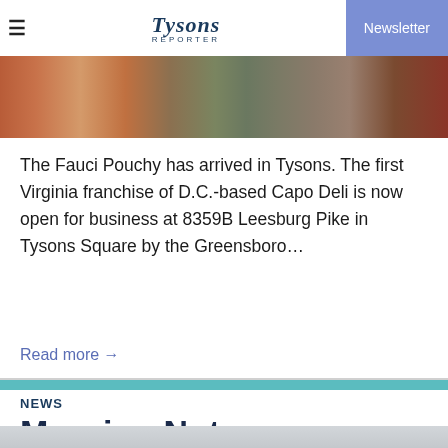≡  Tysons REPORTER  Newsletter
[Figure (photo): Header image showing a deli display case with food items and a red wooden background]
The Fauci Pouchy has arrived in Tysons. The first Virginia franchise of D.C.-based Capo Deli is now open for business at 8359B Leesburg Pike in Tysons Square by the Greensboro…
Read more →
NEWS
Morning Notes
TysonsReporter.com  August 26, 2022 at 8:03am
[Figure (photo): Bottom partial image, grey toned]